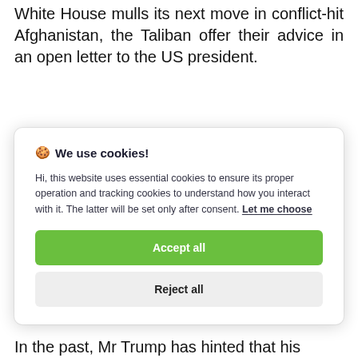White House mulls its next move in conflict-hit Afghanistan, the Taliban offer their advice in an open letter to the US president.
🍪 We use cookies!
Hi, this website uses essential cookies to ensure its proper operation and tracking cookies to understand how you interact with it. The latter will be set only after consent. Let me choose
[Accept all] [Reject all]
In the past, Mr Trump has hinted that his